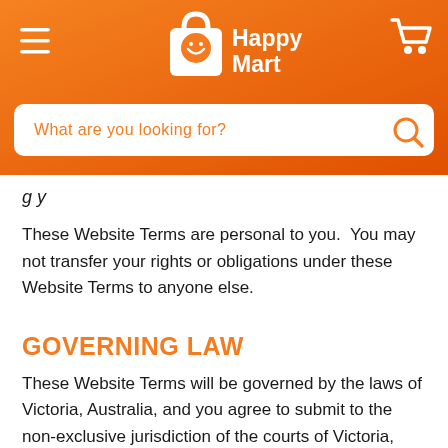[Figure (logo): Happy Mart logo with shopping bag icon and hamburger menu and cart icon on orange gradient header]
[Figure (screenshot): Search bar with placeholder text 'What are you looking for?' and orange search icon on white background]
g y
These Website Terms are personal to you.  You may not transfer your rights or obligations under these Website Terms to anyone else.
GOVERNING LAW
These Website Terms will be governed by the laws of Victoria, Australia, and you agree to submit to the non-exclusive jurisdiction of the courts of Victoria, Australia. If any of the Website Terms are found to be unenforceable